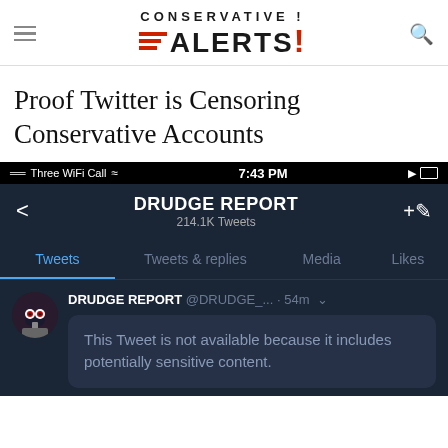CONSERVATIVE ALERTS!
Proof Twitter is Censoring Conservative Accounts
[Figure (screenshot): Screenshot of Twitter mobile app showing the Drudge Report profile page. Status bar shows Three WiFi Call, 7:43 PM. Profile header shows DRUDGE REPORT with 214.1K Tweets. Tabs: Tweets (active), Tweets & replies, Media, Likes. A tweet from @DRUDGE_... 54m ago shows the message 'This Tweet is not available because it includes potentially sensitive content.']